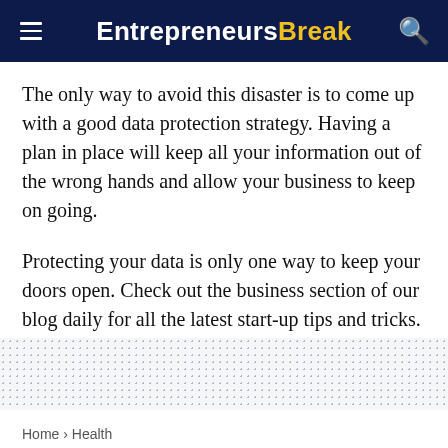EntrepreneursBreak
The only way to avoid this disaster is to come up with a good data protection strategy. Having a plan in place will keep all your information out of the wrong hands and allow your business to keep on going.
Protecting your data is only one way to keep your doors open. Check out the business section of our blog daily for all the latest start-up tips and tricks.
Home > Health